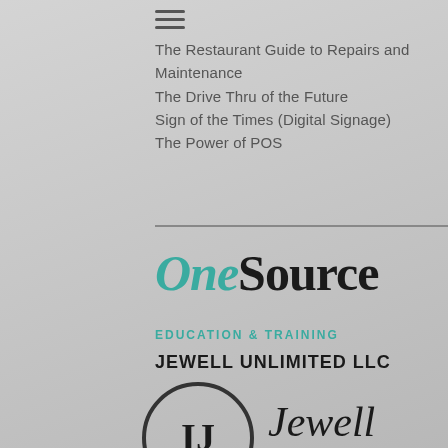The Restaurant Guide to Repairs and Maintenance
The Drive Thru of the Future
Sign of the Times (Digital Signage)
The Power of POS
[Figure (logo): OneSource logo with teal italic 'One' and bold black 'Source']
EDUCATION & TRAINING
JEWELL UNLIMITED LLC
[Figure (logo): Jewell Unlimited LLC logo with circular IJ monogram and stylized 'Jewell Unlimited' wordmark]